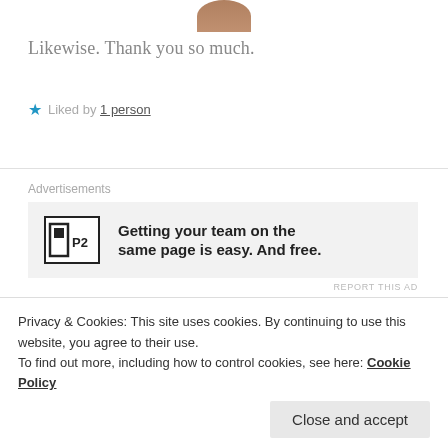[Figure (photo): Partial profile avatar photo at top of page, cropped circle]
Likewise. Thank you so much.
Liked by 1 person
[Figure (infographic): Advertisement banner: P2 logo with text 'Getting your team on the same page is easy. And free.']
REPORT THIS AD
[Figure (photo): Profile photo of POSITIVESIDEOFCOIN, a woman with dark hair]
POSITIVESIDEOFCOIN
17 Apr 2019 at 11:34 am
Privacy & Cookies: This site uses cookies. By continuing to use this website, you agree to their use.
To find out more, including how to control cookies, see here: Cookie Policy
blogging 🌸🌶